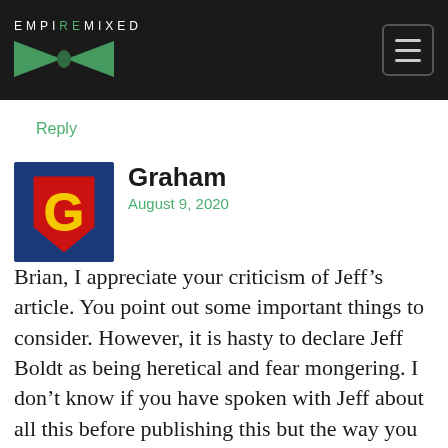EMPIREMIXED
Reply
[Figure (illustration): Superman-style logo avatar with a yellow G on a red shield, on a blue background]
Graham
August 9, 2020
Brian, I appreciate your criticism of Jeff’s article. You point out some important things to consider. However, it is hasty to declare Jeff Boldt as being heretical and fear mongering. I don’t know if you have spoken with Jeff about all this before publishing this but the way you presented a response to his article appears to be offended and